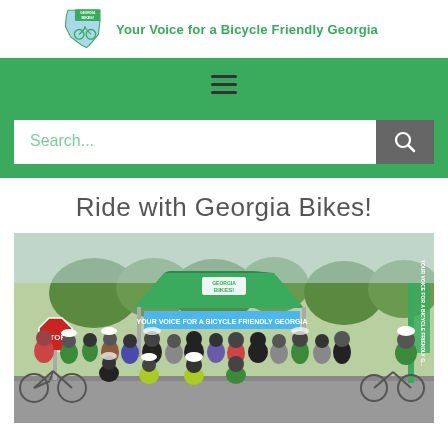[Figure (logo): Georgia Bikes! logo with state outline and bicycle icon, tagline: Your Voice for a Bicycle Friendly Georgia]
[Figure (infographic): Green navigation bar with hamburger menu icon (three horizontal lines)]
[Figure (screenshot): Search bar with placeholder text 'Search...' and a dark grey search button with magnifying glass icon]
Ride with Georgia Bikes!
[Figure (photo): Group photo of approximately 25 cyclists and community members gathered outdoors under a green Georgia Bikes! branded tent/canopy. Participants wearing masks, cycling gear, and casual clothes. A stop sign and trees visible in background, along with a branded banner reading 'Your Voice for a Bicycle Friendly Georgia'.]